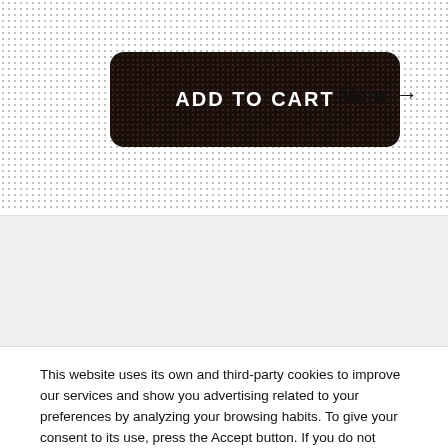[Figure (screenshot): ADD TO CART button with dark rounded rectangle and dotted/halftone texture background]
More →
[Figure (screenshot): Gray band / empty content area]
This website uses its own and third-party cookies to improve our services and show you advertising related to your preferences by analyzing your browsing habits. To give your consent to its use, press the Accept button. If you do not agree, click here.
More informations
Customize Cookies
I accept